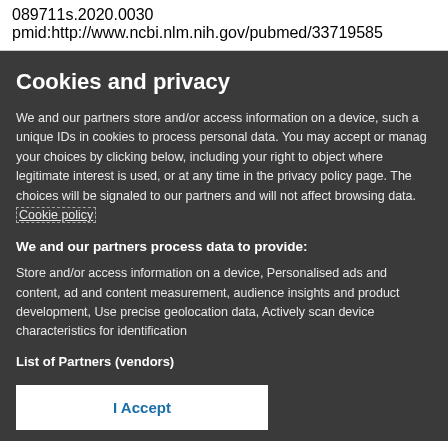089711s.2020.0030
pmid:http://www.ncbi.nlm.nih.gov/pubmed/33719585
Cookies and privacy
We and our partners store and/or access information on a device, such a unique IDs in cookies to process personal data. You may accept or manag your choices by clicking below, including your right to object where legitimate interest is used, or at any time in the privacy policy page. The choices will be signaled to our partners and will not affect browsing data. Cookie policy
We and our partners process data to provide:
Store and/or access information on a device, Personalised ads and content, ad and content measurement, audience insights and product development, Use precise geolocation data, Actively scan device characteristics for identification
List of Partners (vendors)
I Accept